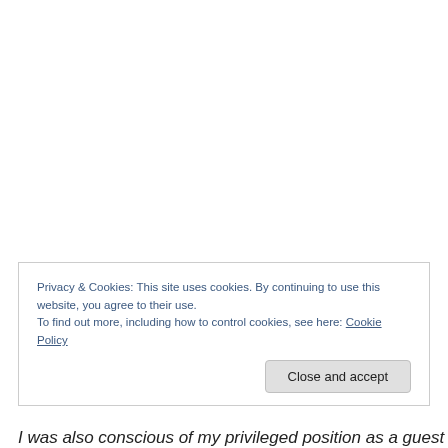Images courtesy Tony Corey
Privacy & Cookies: This site uses cookies. By continuing to use this website, you agree to their use.
To find out more, including how to control cookies, see here: Cookie Policy
I was also conscious of my privileged position as a guest